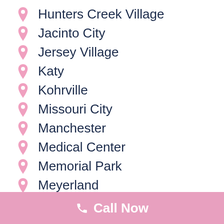Hunters Creek Village
Jacinto City
Jersey Village
Katy
Kohrville
Missouri City
Manchester
Medical Center
Memorial Park
Meyerland
Montrose
Pasadena
📞 Call Now